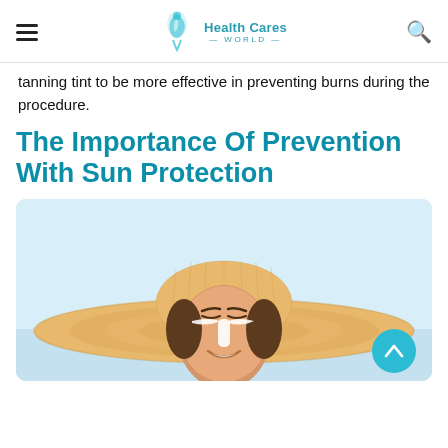Health Cares WORLD
tanning tint to be more effective in preventing burns during the procedure.
The Importance Of Prevention With Sun Protection
[Figure (photo): A smiling woman wearing a large straw sun hat with white sunscreen applied on her nose and under her eyes, outdoors with a bright sky background. A teal scroll-to-top button overlays the bottom right corner.]